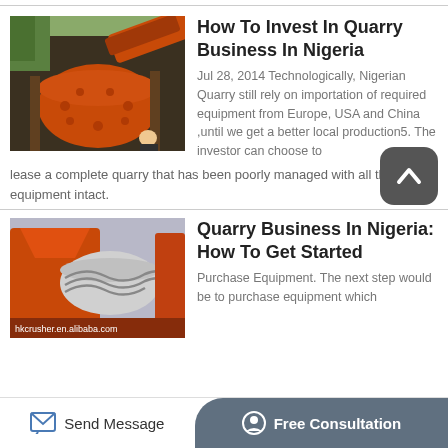[Figure (photo): Orange industrial quarry ball mill machinery with worker in background]
How To Invest In Quarry Business In Nigeria
Jul 28, 2014 Technologically, Nigerian Quarry still rely on importation of required equipment from Europe, USA and China ,until we get a better local production5. The investor can choose to lease a complete quarry that has been poorly managed with all the equipment intact.
[Figure (photo): Orange industrial quarry crusher/separator equipment with hkcrusher.en.alibaba.com watermark]
Quarry Business In Nigeria: How To Get Started
Purchase Equipment. The next step would be to purchase equipment which